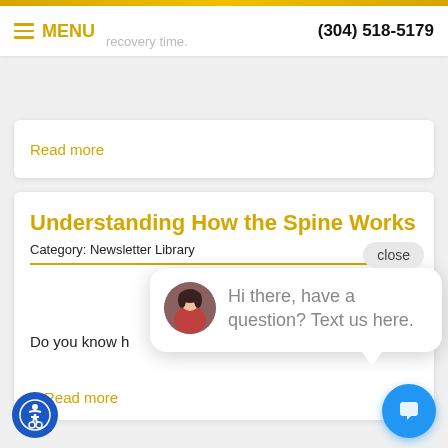MENU  (304) 518-5179
Read more
Understanding How the Spine Works
Category: Newsletter Library
[Figure (photo): Close-up photo of hands, possibly showing a spine model or medical hands-on procedure]
Do you know h
Read more
Hi there, have a question? Text us here.
close